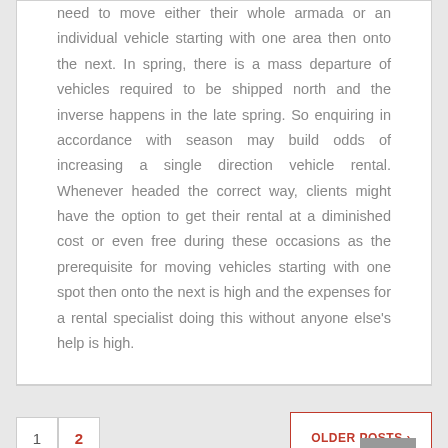need to move either their whole armada or an individual vehicle starting with one area then onto the next. In spring, there is a mass departure of vehicles required to be shipped north and the inverse happens in the late spring. So enquiring in accordance with season may build odds of increasing a single direction vehicle rental. Whenever headed the correct way, clients might have the option to get their rental at a diminished cost or even free during these occasions as the prerequisite for moving vehicles starting with one spot then onto the next is high and the expenses for a rental specialist doing this without anyone else's help is high.
1
2
OLDER POSTS ›